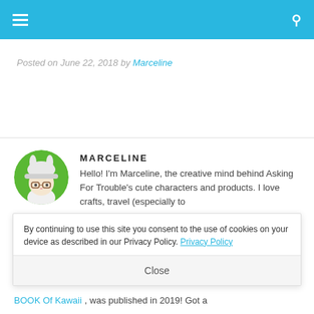Navigation bar with menu and search icons
Posted on June 22, 2018 by Marceline
[Figure (illustration): Circular avatar of Marceline character — a cartoon figure with a white bunny hat and glasses on a green background]
MARCELINE
Hello! I'm Marceline, the creative mind behind Asking For Trouble's cute characters and products. I love crafts, travel (especially to...
By continuing to use this site you consent to the use of cookies on your device as described in our Privacy Policy. Privacy Policy
Close
BOOK Of Kawaii, was published in 2019! Got a